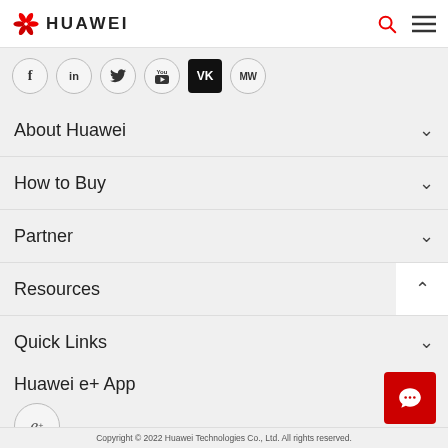HUAWEI
[Figure (screenshot): Social media icons row: Facebook, LinkedIn, Twitter, YouTube, VK, MW]
About Huawei
How to Buy
Partner
Resources
Quick Links
Huawei e+ App
Copyright © 2022 Huawei Technologies Co., Ltd. All rights reserved.